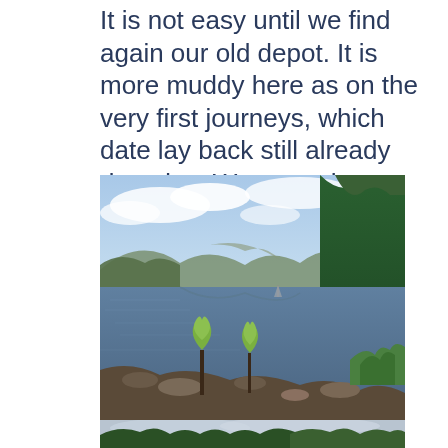It is not easy until we find again our old depot. It is more muddy here as on the very first journeys, which date lay back still already decades. We never have met so many Midges, too.
[Figure (photo): Landscape photo of a Scottish loch with still water, mountains in the background under a partly cloudy sky, two small birch trees growing at the water's edge, and dense green forest on the right bank.]
[Figure (photo): Partial view of another outdoor scene showing overcast sky and treetops, partially cut off at bottom of page.]